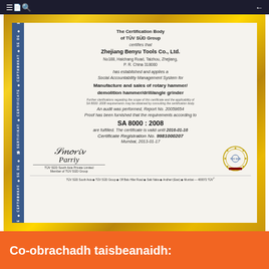[Figure (photo): TÜV SÜD certificate in gold frame for Zhejiang Benyu Tools Co., Ltd., SA 8000:2008 Social Accountability Management System certification]
Co-obrachadh taisbeanaidh: